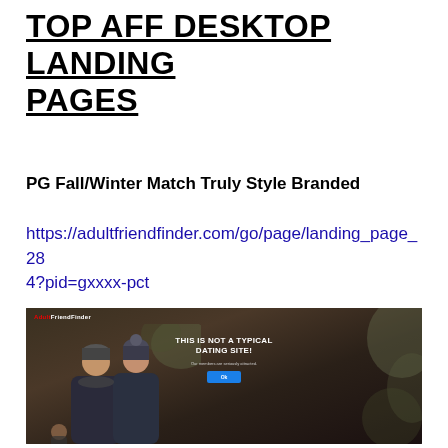TOP AFF DESKTOP LANDING PAGES
PG Fall/Winter Match Truly Style Branded
https://adultfriendfinder.com/go/page/landing_page_284?pid=gxxxx-pct
[Figure (screenshot): Screenshot of AdultFriendFinder landing page showing a couple about to kiss with overlay text 'THIS IS NOT A TYPICAL DATING SITE!' and a blue call-to-action button]